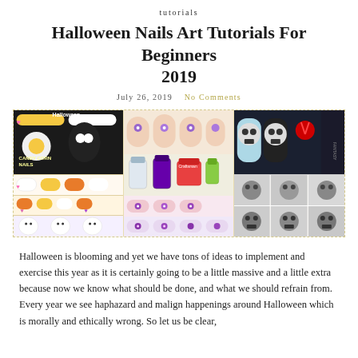tutorials
Halloween Nails Art Tutorials For Beginners 2019
July 26, 2019   No Comments
[Figure (photo): Collage of Halloween nail art tutorials showing candy corn nails, ghost nails, skull nails, and flower patterned nails in three panels]
Halloween is blooming and yet we have tons of ideas to implement and exercise this year as it is certainly going to be a little massive and a little extra because now we know what should be done, and what we should refrain from. Every year we see haphazard and malign happenings around Halloween which is morally and ethically wrong. So let us be clear,